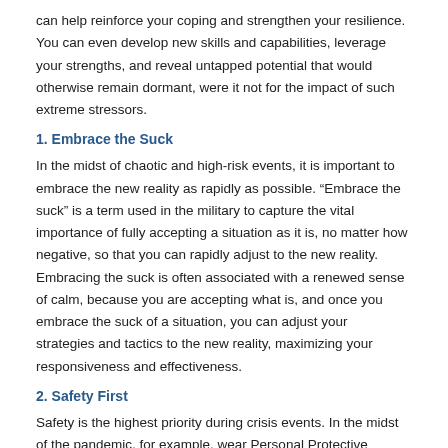can help reinforce your coping and strengthen your resilience. You can even develop new skills and capabilities, leverage your strengths, and reveal untapped potential that would otherwise remain dormant, were it not for the impact of such extreme stressors.
1. Embrace the Suck
In the midst of chaotic and high-risk events, it is important to embrace the new reality as rapidly as possible. “Embrace the suck” is a term used in the military to capture the vital importance of fully accepting a situation as it is, no matter how negative, so that you can rapidly adjust to the new reality. Embracing the suck is often associated with a renewed sense of calm, because you are accepting what is, and once you embrace the suck of a situation, you can adjust your strategies and tactics to the new reality, maximizing your responsiveness and effectiveness.
2. Safety First
Safety is the highest priority during crisis events. In the midst of the pandemic, for example, wear Personal Protective